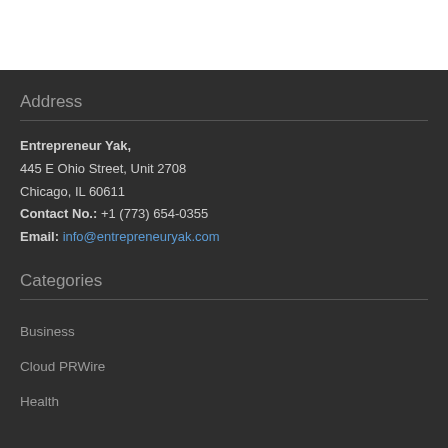Address
Entrepreneur Yak,
445 E Ohio Street, Unit 2708
Chicago, IL 60611
Contact No.: +1 (773) 654-0355
Email: info@entrepreneuryak.com
Categories
Business
Cloud PRWire
Health